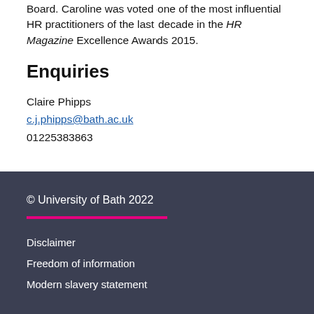Board. Caroline was voted one of the most influential HR practitioners of the last decade in the HR Magazine Excellence Awards 2015.
Enquiries
Claire Phipps
c.j.phipps@bath.ac.uk
01225383863
© University of Bath 2022
Disclaimer
Freedom of information
Modern slavery statement